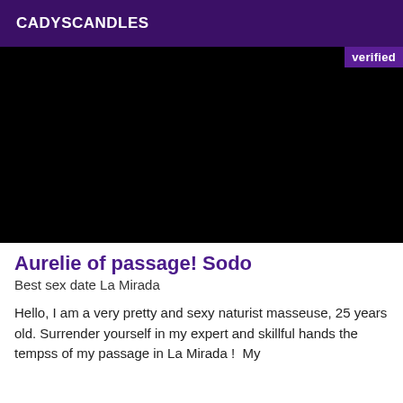CADYSCANDLES
[Figure (photo): Dark/black image with a purple 'verified' badge in the top-right corner]
Aurelie of passage! Sodo
Best sex date La Mirada
Hello, I am a very pretty and sexy naturist masseuse, 25 years old. Surrender yourself in my expert and skillful hands the tempss of my passage in La Mirada !  My